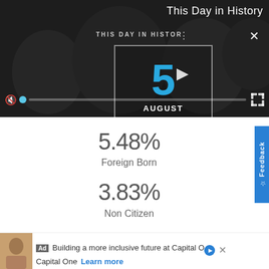[Figure (screenshot): This Day in History video player showing August 5, with a dark overlaid news background, playback controls, and title text]
5.48%
Foreign Born
3.83%
Non Citizen
1.66%
Naturalized
Ad Building a more inclusive future at Capital One · Capital One Learn more